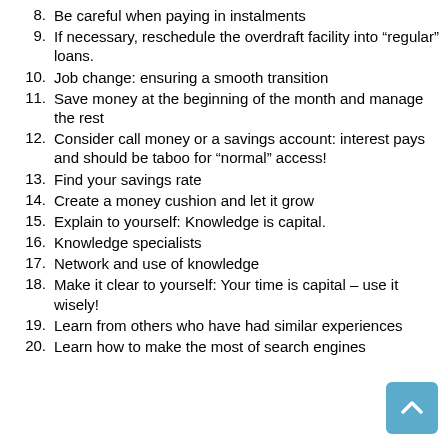8. Be careful when paying in instalments
9. If necessary, reschedule the overdraft facility into “regular” loans.
10. Job change: ensuring a smooth transition
11. Save money at the beginning of the month and manage the rest
12. Consider call money or a savings account: interest pays and should be taboo for “normal” access!
13. Find your savings rate
14. Create a money cushion and let it grow
15. Explain to yourself: Knowledge is capital.
16. Knowledge specialists
17. Network and use of knowledge
18. Make it clear to yourself: Your time is capital – use it wisely!
19. Learn from others who have had similar experiences
20. Learn how to make the most of search engines